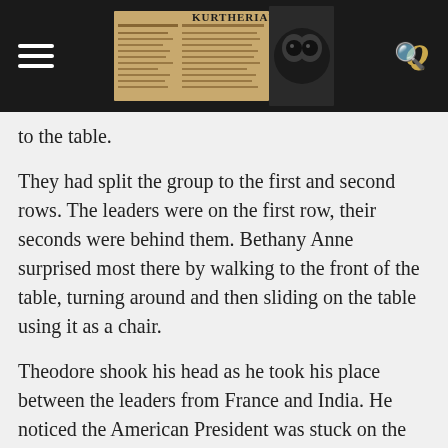KURTHERIAN NEWS
to the table.
They had split the group to the first and second rows.  The leaders were on the first row, their seconds were behind them.  Bethany Anne surprised most there by walking to the front of the table, turning around and then sliding on the table using it as a chair.
Theodore shook his head as he took his place between the leaders from France and India.  He noticed the American President was stuck on the end next to Spain.  She certainly didn’t pick favorites this time.
“So, I’m going to speak to China, Technology, and an ‘oh shit’,” She put up her hand as the muttering started, “If the oh shit was something with a more